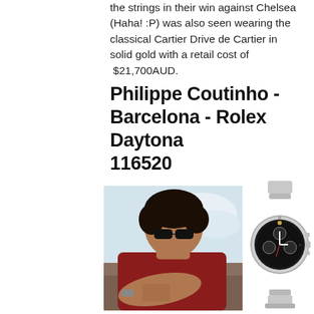the strings in their win against Chelsea (Haha! :P) was also seen wearing the classical Cartier Drive de Cartier in solid gold with a retail cost of  $21,700AUD.
Philippe Coutinho - Barcelona - Rolex Daytona 116520
[Figure (photo): Photo of Philippe Coutinho in a red t-shirt, seated outdoors, wearing a watch on his wrist. Background shows a bright sky.]
[Figure (photo): Photo of a Rolex Daytona 116520 watch with a stainless steel bracelet, black dial, and three sub-dials.]